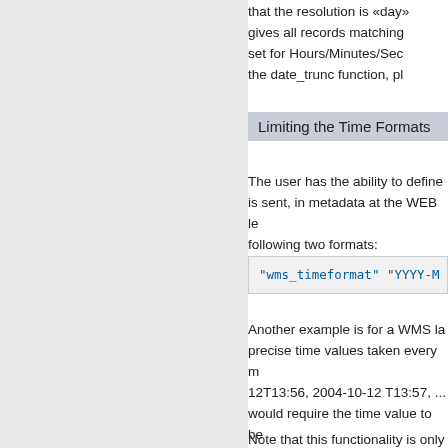that the resolution is «day» gives all records matching set for Hours/Minutes/Sec the date_trunc function, pl
Limiting the Time Formats
The user has the ability to define is sent, in metadata at the WEB le following two formats:
"wms_timeformat" "YYYY-M
Another example is for a WMS la precise time values taken every m 12T13:56, 2004-10-12 T13:57, ... would require the time value to be defining a set of patterns to use, to be used when doing a query. U 2004-10-12T13:55 would be valid also be valid and would return all
Note that this functionality is only